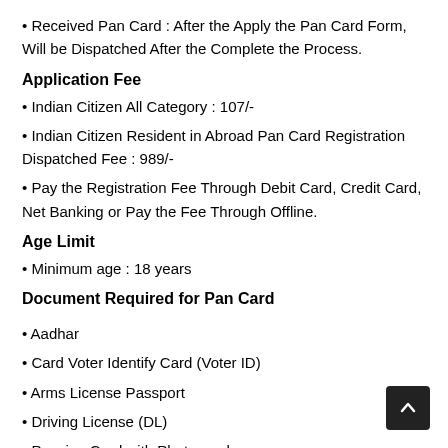Received Pan Card : After the Apply the Pan Card Form, Will be Dispatched After the Complete the Process.
Application Fee
Indian Citizen All Category : 107/-
Indian Citizen Resident in Abroad Pan Card Registration Dispatched Fee : 989/-
Pay the Registration Fee Through Debit Card, Credit Card, Net Banking or Pay the Fee Through Offline.
Age Limit
Minimum age : 18 years
Document Required for Pan Card
Aadhar
Card Voter Identify Card (Voter ID)
Arms License Passport
Driving License (DL)
Pension Card with Photograph
Ration Card